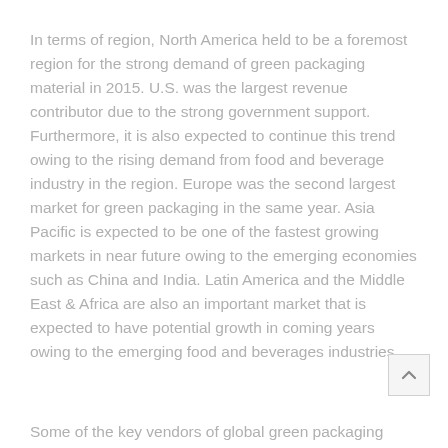In terms of region, North America held to be a foremost region for the strong demand of green packaging material in 2015. U.S. was the largest revenue contributor due to the strong government support. Furthermore, it is also expected to continue this trend owing to the rising demand from food and beverage industry in the region. Europe was the second largest market for green packaging in the same year. Asia Pacific is expected to be one of the fastest growing markets in near future owing to the emerging economies such as China and India. Latin America and the Middle East & Africa are also an important market that is expected to have potential growth in coming years owing to the emerging food and beverages industries.
Some of the key vendors of global green packaging